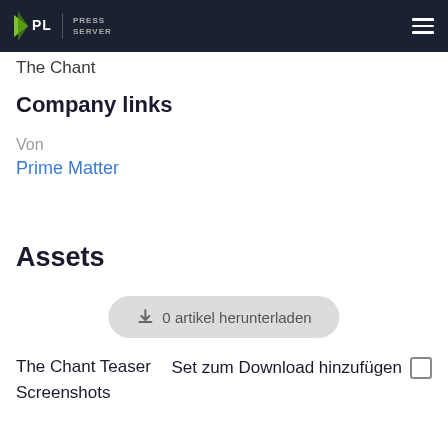PLAION PRESS SERVER
The Chant
Company links
Von
Prime Matter
Assets
0 artikel herunterladen
The Chant Teaser Screenshots
Set zum Download hinzufügen